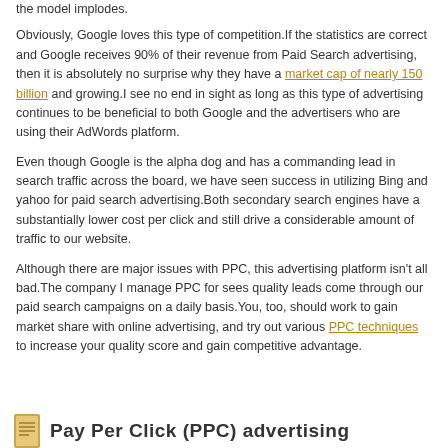the model implodes.
Obviously, Google loves this type of competition.If the statistics are correct and Google receives 90% of their revenue from Paid Search advertising, then it is absolutely no surprise why they have a market cap of nearly 150 billion and growing.I see no end in sight as long as this type of advertising continues to be beneficial to both Google and the advertisers who are using their AdWords platform.
Even though Google is the alpha dog and has a commanding lead in search traffic across the board, we have seen success in utilizing Bing and yahoo for paid search advertising.Both secondary search engines have a substantially lower cost per click and still drive a considerable amount of traffic to our website.
Although there are major issues with PPC, this advertising platform isn't all bad.The company I manage PPC for sees quality leads come through our paid search campaigns on a daily basis.You, too, should work to gain market share with online advertising, and try out various PPC techniques to increase your quality score and gain competitive advantage.
Pay Per Click (PPC) advertising